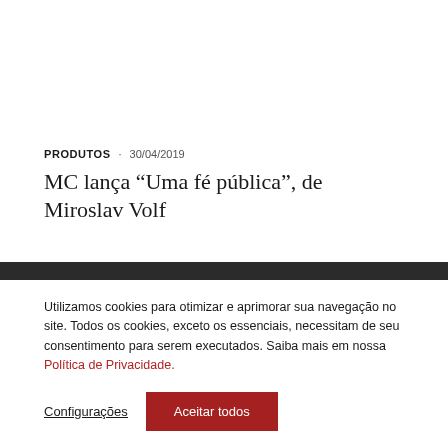PRODUTOS · 30/04/2019
MC lança “Uma fé pública”, de Miroslav Volf
Utilizamos cookies para otimizar e aprimorar sua navegação no site. Todos os cookies, exceto os essenciais, necessitam de seu consentimento para serem executados. Saiba mais em nossa Política de Privacidade.
Configurações   Aceitar todos